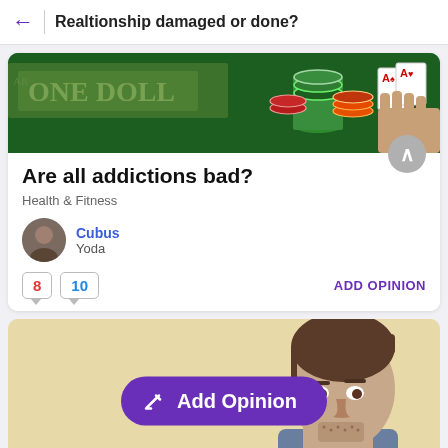Realtionship damaged or done?
[Figure (photo): Gambling table photo with poker chips, playing cards (aces), dollar bills, and a hand reaching for chips on a green casino table.]
Are all addictions bad?
Health & Fitness
Cubus
Yoda
8  10  ADD OPINION
[Figure (screenshot): Bottom card showing a man's face with a purple 'Add Opinion' button overlaid in the center.]